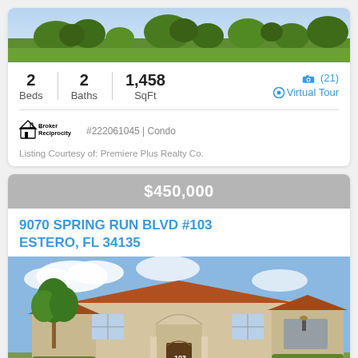[Figure (photo): Aerial/ground view of green landscaping with trees and grass at top of first property listing card]
2 Beds | 2 Baths | 1,458 SqFt
(21) Virtual Tour
#222061045 | Condo
[Figure (logo): Broker Reciprocity logo - house icon with text]
Listing Courtesy of: Premiere Plus Realty Co.
$450,000
9070 SPRING RUN BLVD #103
ESTERO, FL 34135
[Figure (photo): Exterior photo of a beige/cream colored two-story condo building with arched entryway, white railings, steps, and manicured hedges]